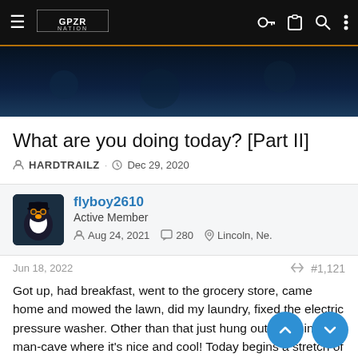≡ GPZR NATION  [icons: key, clipboard, search, more]
[Figure (photo): Dark blue hero banner image for the forum site]
What are you doing today? [Part II]
HARDTRAILZ · Dec 29, 2020
flyboy2610
Active Member
Aug 24, 2021  280  Lincoln, Ne.
Jun 18, 2022  #1,121
Got up, had breakfast, went to the grocery store, came home and mowed the lawn, did my laundry, fixed the electric pressure washer. Other than that just hung out down in the man-cave where it's nice and cool! Today begins a stretch of HOT weather!
Redbeard and Matt